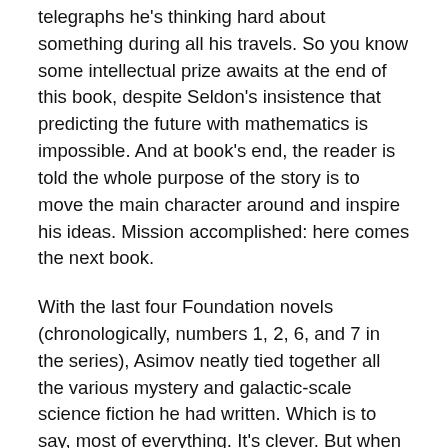telegraphs he's thinking hard about something during all his travels. So you know some intellectual prize awaits at the end of this book, despite Seldon's insistence that predicting the future with mathematics is impossible. And at book's end, the reader is told the whole purpose of the story is to move the main character around and inspire his ideas. Mission accomplished: here comes the next book.
With the last four Foundation novels (chronologically, numbers 1, 2, 6, and 7 in the series), Asimov neatly tied together all the various mystery and galactic-scale science fiction he had written. Which is to say, most of everything. It's clever. But when your publisher is clamoring for best sellers, perhaps clever is the best one can do. Even given Asimov's select talents as a writer, he could have done better than writing what is essentially good fan fiction.